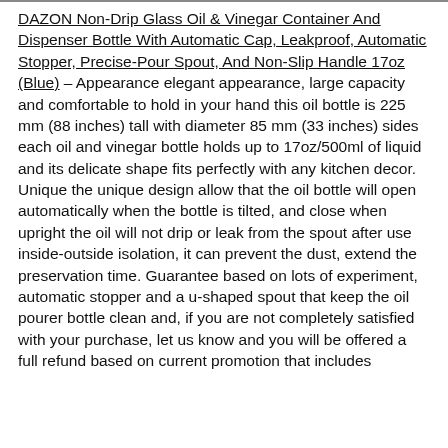DAZON Non-Drip Glass Oil & Vinegar Container And Dispenser Bottle With Automatic Cap, Leakproof, Automatic Stopper, Precise-Pour Spout, And Non-Slip Handle 17oz (Blue) – Appearance elegant appearance, large capacity and comfortable to hold in your hand this oil bottle is 225 mm (88 inches) tall with diameter 85 mm (33 inches) sides each oil and vinegar bottle holds up to 17oz/500ml of liquid and its delicate shape fits perfectly with any kitchen decor. Unique the unique design allow that the oil bottle will open automatically when the bottle is tilted, and close when upright the oil will not drip or leak from the spout after use inside-outside isolation, it can prevent the dust, extend the preservation time. Guarantee based on lots of experiment, automatic stopper and a u-shaped spout that keep the oil pourer bottle clean and, if you are not completely satisfied with your purchase, let us know and you will be offered a full refund based on current promotion that includes